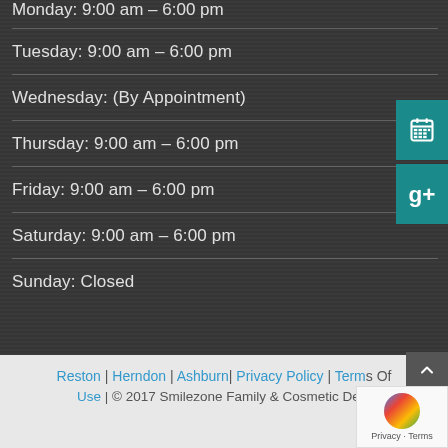Monday: 9:00 am – 6:00 pm (partial, cut off at top)
Tuesday: 9:00 am – 6:00 pm
Wednesday: (By Appointment)
Thursday: 9:00 am – 6:00 pm
Friday: 9:00 am – 6:00 pm
Saturday: 9:00 am – 6:00 pm
Sunday: Closed
Reston | Herndon | Ashburn | Privacy Policy | Terms Of Use | © 2017 Smilezone Family & Cosmetic Dent...